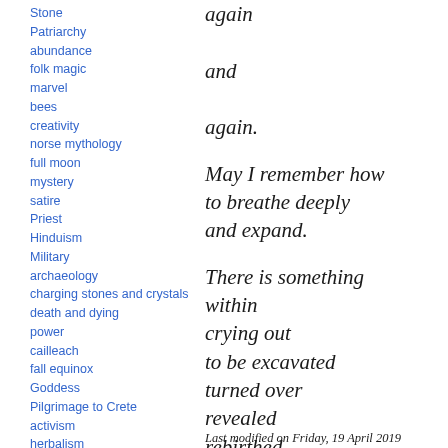Stone
Patriarchy
abundance
folk magic
marvel
bees
creativity
norse mythology
full moon
mystery
satire
Priest
Hinduism
Military
archaeology
charging stones and crystals
death and dying
power
cailleach
fall equinox
Goddess
Pilgrimage to Crete
activism
herbalism
scotland
sacrifice
sabbat
symbolism
Green Man
protection
magic
temple
worship
transformati
again

and

again.

May I remember how
to breathe deeply
and expand.

There is something
within
crying out
to be excavated
turned over
revealed
rebirthed
and nourished.

May I listen.
Last modified on Friday, 19 April 2019